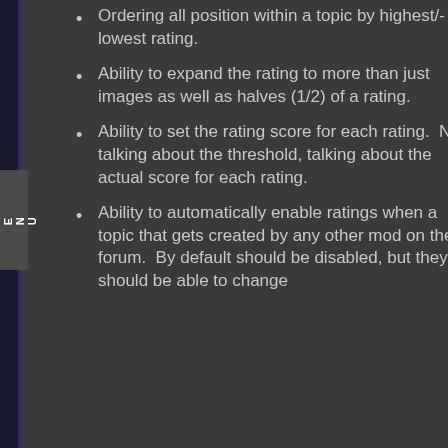Ordering all posts within a topic by highest/lowest rating.
Ability to expand the rating to more than just images as well as halves (1/2) of a rating.
Ability to set the rating score for each rating.  Not talking about the threshold, talking about the actual score for each rating.
Ability to automatically enable ratings when a topic that gets created by any other mod on the forum.  By default should be disabled, but they should be able to change